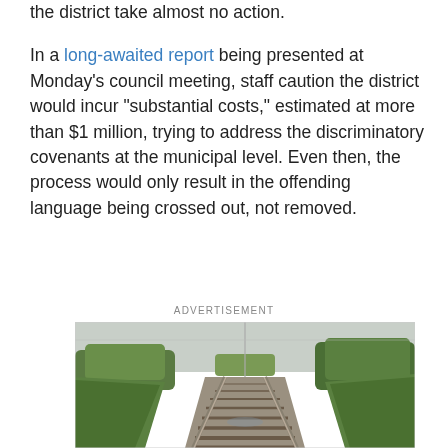the district take almost no action.

In a long-awaited report being presented at Monday's council meeting, staff caution the district would incur "substantial costs," estimated at more than $1 million, trying to address the discriminatory covenants at the municipal level. Even then, the process would only result in the offending language being crossed out, not removed.
ADVERTISEMENT
[Figure (photo): A straight railway track receding into the distance, flanked by green trees and vegetation on both sides, overcast sky.]